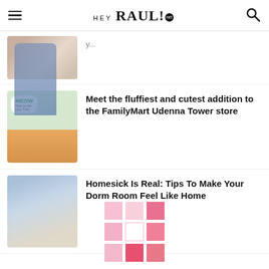HEY RAUL! .net
[Figure (photo): Partial article thumbnail showing a person, cropped at top]
[Figure (photo): FamilyMart cat thumbnail with MEOW speech bubble and orange cat]
Meet the fluffiest and cutest addition to the FamilyMart Udenna Tower store
[Figure (photo): Person in denim overalls holding a box, moving into a dorm]
Homesick Is Real: Tips To Make Your Dorm Room Feel Like Home
[Figure (logo): Pink grid logo composed of 3x3 colored squares in shades of pink]